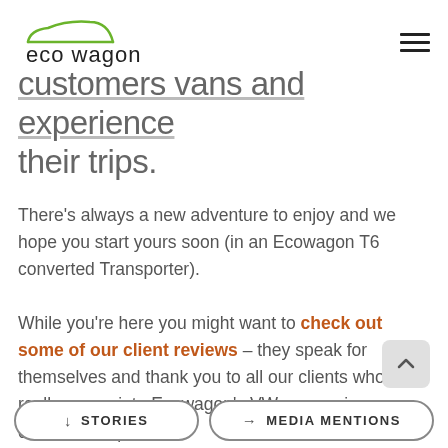[Figure (logo): Eco Wagon logo with green car outline above text 'eco wagon' in lowercase sans-serif]
customers vans and experience their trips.
There's always a new adventure to enjoy and we hope you start yours soon (in an Ecowagon T6 converted Transporter).
While you're here you might want to check out some of our client reviews – they speak for themselves and thank you to all our clients who really appreciate Ecowagon's VW conversion craftsmanship.
↓ STORIES
→ MEDIA MENTIONS